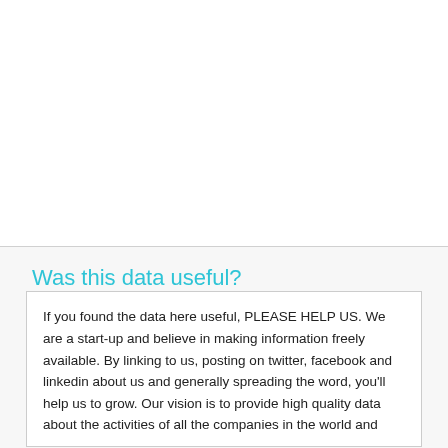Was this data useful?
If you found the data here useful, PLEASE HELP US. We are a start-up and believe in making information freely available. By linking to us, posting on twitter, facebook and linkedin about us and generally spreading the word, you'll help us to grow. Our vision is to provide high quality data about the activities of all the companies in the world and